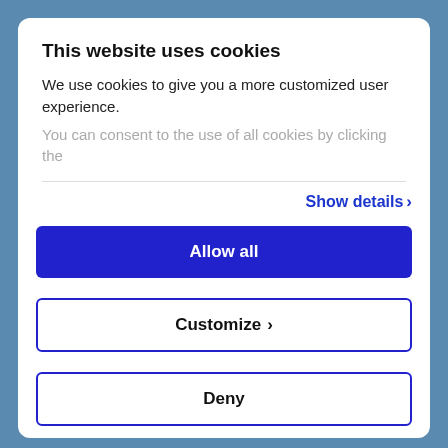This website uses cookies
We use cookies to give you a more customized user experience.
You can consent to the use of all cookies by clicking the
Show details
Allow all
Customize
Deny
Powered by Cookiebot by Usercentrics